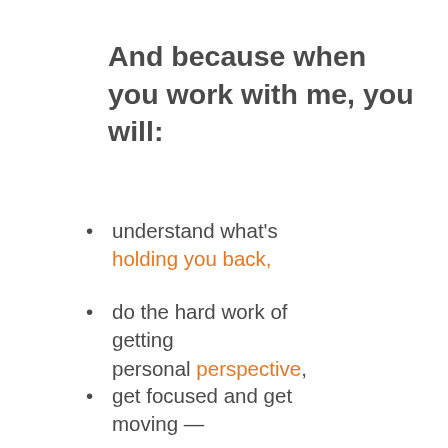And because when you work with me, you will:
understand what's holding you back,
do the hard work of getting personal perspective,
get focused and get moving —
but this time — in the right direction,
so that you'll find